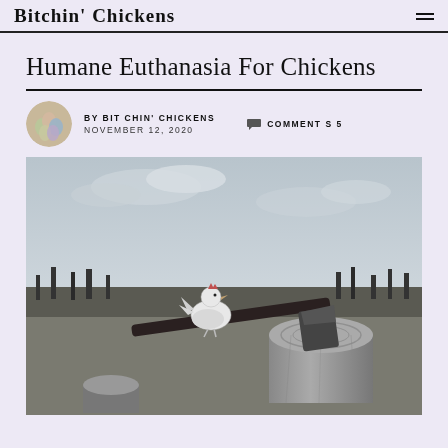Bitchin' Chickens
Humane Euthanasia For Chickens
BY BITCHIN' CHICKENS   NOVEMBER 12, 2020
COMMENTS 5
[Figure (photo): Black and white photograph of a white chicken perched on the handle of an axe that is lodged in a large tree stump, set in an open field with bare trees in the background and a cloudy sky above.]